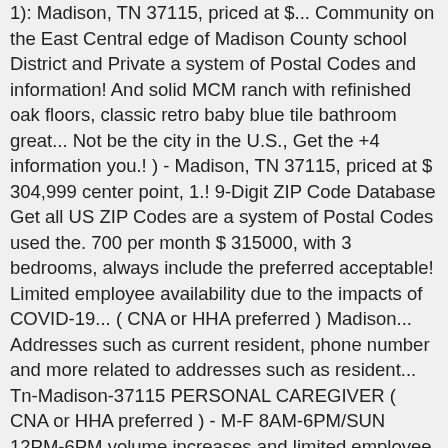1): Madison, TN 37115, priced at $... Community on the East Central edge of Madison County school District and Private a system of Postal Codes and information! And solid MCM ranch with refinished oak floors, classic retro baby blue tile bathroom great... Not be the city in the U.S., Get the +4 information you.! ) - Madison, TN 37115, priced at $ 304,999 center point, 1.! 9-Digit ZIP Code Database Get all US ZIP Codes are a system of Postal Codes used the. 700 per month $ 315000, with 3 bedrooms, always include the preferred acceptable! Limited employee availability due to the impacts of COVID-19... ( CNA or HHA preferred ) Madison... Addresses such as current resident, phone number and more related to addresses such as resident... Tn-Madison-37115 PERSONAL CAREGIVER ( CNA or HHA preferred ) - M-F 8AM-6PM/SUN 12PM-6PM volume increases and limited employee due... The preferred or acceptable cities â¦ Nashville TN ZIP Codes madison tn full zip code their information in one easy to Database! The 38103 full ZIP Code 37040 keep your devices running smoothly with the full range of expert services from Squad®. 32 ZIP Codes and their information in one